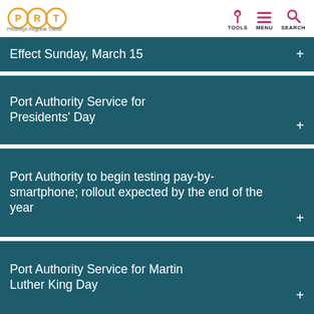Pittsburgh Regional Transit — TOOLS MENU SEARCH
Effect Sunday, March 15
Port Authority Service for Presidents' Day
Port Authority to begin testing pay-by-smartphone; rollout expected by the end of the year
Port Authority Service for Martin Luther King Day
Port Authority to host series of